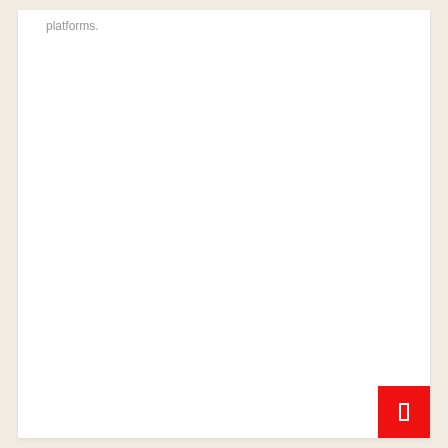platforms.
[Figure (other): Red button with a white bookmark/page icon in the bottom-right corner of the page]